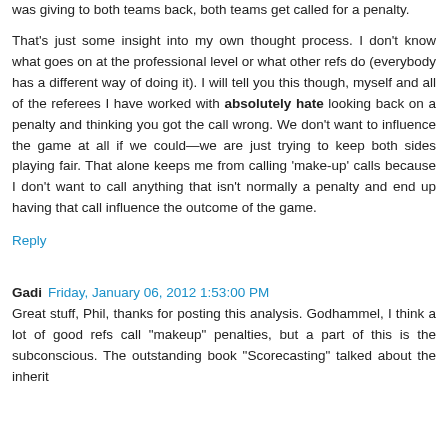was giving to both teams back, both teams get called for a penalty.

That's just some insight into my own thought process. I don't know what goes on at the professional level or what other refs do (everybody has a different way of doing it). I will tell you this though, myself and all of the referees I have worked with absolutely hate looking back on a penalty and thinking you got the call wrong. We don't want to influence the game at all if we could—we are just trying to keep both sides playing fair. That alone keeps me from calling 'make-up' calls because I don't want to call anything that isn't normally a penalty and end up having that call influence the outcome of the game.
Reply
Gadi  Friday, January 06, 2012 1:53:00 PM
Great stuff, Phil, thanks for posting this analysis. Godhammel, I think a lot of good refs call "makeup" penalties, but a part of this is the subconscious. The outstanding book "Scorecasting" talked about the inherit